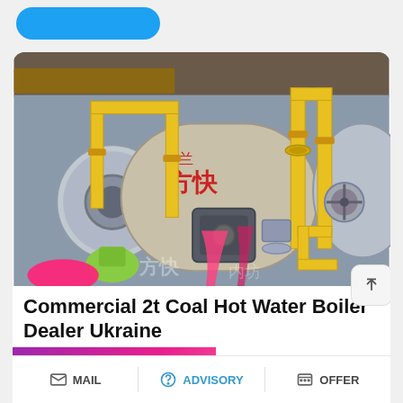[Figure (photo): Industrial boilers with yellow pipes in a factory setting. Multiple cylindrical boilers with Chinese characters, yellow gas pipes, valves, and flanges visible. Pink and green decorative items visible at base.]
Commercial 2t Coal Hot Water Boiler Dealer Ukraine
[Figure (screenshot): WhatsApp sticker save banner overlay showing phone and message icons on a purple-pink gradient background with text 'Save Stickers on WhatsApp']
n boiler gas - oil gas fired boiler. ctual operation of the boiler, the
MAIL   ADVISORY   OFFER